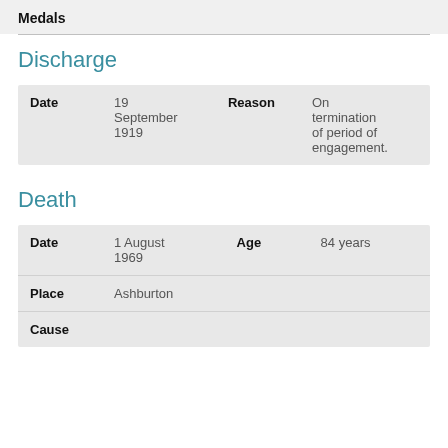Medals
Discharge
| Date |  | Reason |  |
| --- | --- | --- | --- |
| 19 September 1919 |  | Reason | On termination of period of engagement. |
Death
| Date |  | Age |  |
| --- | --- | --- | --- |
| 1 August 1969 |  | Age | 84 years |
| Place | Ashburton |  |  |
| Cause |  |  |  |